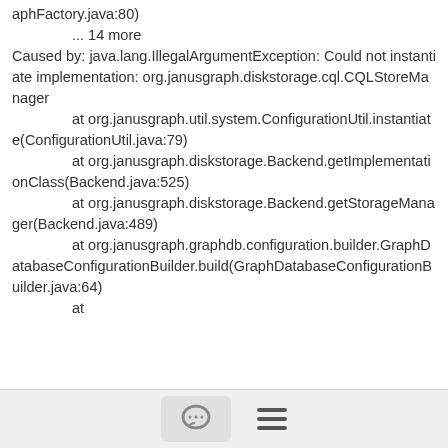aphFactory.java:80)
        ... 14 more
Caused by: java.lang.IllegalArgumentException: Could not instantiate implementation: org.janusgraph.diskstorage.cql.CQLStoreManager
        at org.janusgraph.util.system.ConfigurationUtil.instantiate(ConfigurationUtil.java:79)
        at org.janusgraph.diskstorage.Backend.getImplementationClass(Backend.java:525)
        at org.janusgraph.diskstorage.Backend.getStorageManager(Backend.java:489)
        at org.janusgraph.graphdb.configuration.builder.GraphDatabaseConfigurationBuilder.build(GraphDatabaseConfigurationBuilder.java:64)
        at
[Figure (other): Footer bar with comment/chat icon button and hamburger menu icon]